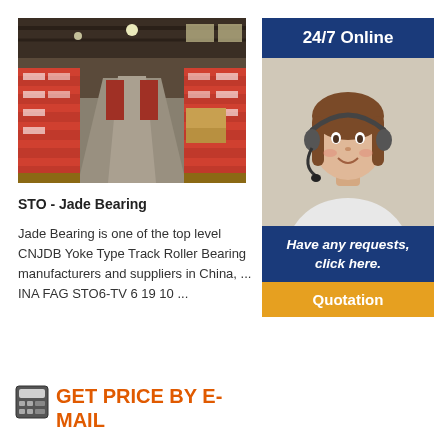[Figure (photo): Warehouse interior with rows of red-boxed bearings stacked on pallets along both sides of a central aisle]
[Figure (infographic): 24/7 Online banner in dark blue, customer service agent photo (woman with headset smiling), 'Have any requests, click here.' text in dark blue, and 'Quotation' button in orange]
STO - Jade Bearing
Jade Bearing is one of the top level CNJDB Yoke Type Track Roller Bearing manufacturers and suppliers in China, ... INA FAG STO6-TV 6 19 10 ...
GET PRICE BY E-MAIL